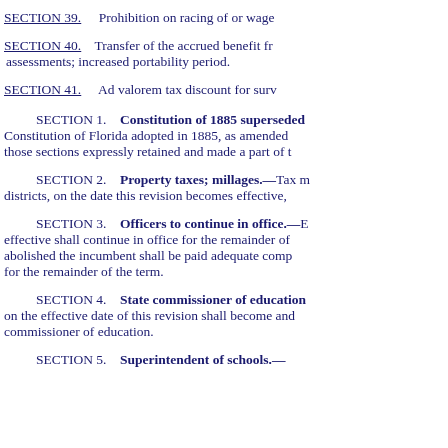SECTION 39.    Prohibition on racing of or wage
SECTION 40.    Transfer of the accrued benefit fr assessments; increased portability period.
SECTION 41.    Ad valorem tax discount for surv
SECTION 1.    Constitution of 1885 superseded — Constitution of Florida adopted in 1885, as amended those sections expressly retained and made a part of t
SECTION 2.    Property taxes; millages.—Tax m districts, on the date this revision becomes effective,
SECTION 3.    Officers to continue in office.—E effective shall continue in office for the remainder of abolished the incumbent shall be paid adequate comp for the remainder of the term.
SECTION 4.    State commissioner of education on the effective date of this revision shall become and commissioner of education.
SECTION 5.    Superintendent of schools.—